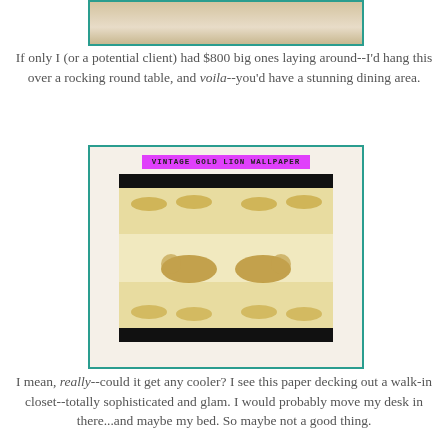[Figure (photo): Top portion of a framed photo, partially cropped, showing a light beige/cream colored object against a light background]
If only I (or a potential client) had $800 big ones laying around--I'd hang this over a rocking round table, and voila--you'd have a stunning dining area.
[Figure (photo): Vintage Gold Lion Wallpaper - a roll of cream/beige wallpaper with gold lion prints, shown with a hot pink label reading 'VINTAGE GOLD LION WALLPAPER']
I mean, really--could it get any cooler? I see this paper decking out a walk-in closet--totally sophisticated and glam. I would probably move my desk in there...and maybe my bed. So maybe not a good thing.